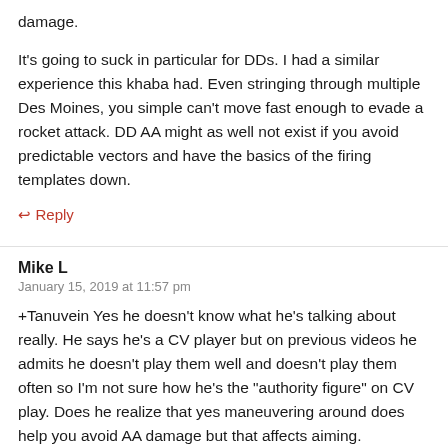damage.
It's going to suck in particular for DDs. I had a similar experience this khaba had. Even stringing through multiple Des Moines, you simple can't move fast enough to evade a rocket attack. DD AA might as well not exist if you avoid predictable vectors and have the basics of the firing templates down.
↩ Reply
Mike L
January 15, 2019 at 11:57 pm
+Tanuvein Yes he doesn't know what he's talking about really. He says he's a CV player but on previous videos he admits he doesn't play them well and doesn't play them often so I'm not sure how he's the "authority figure" on CV play. Does he realize that yes maneuvering around does help you avoid AA damage but that affects aiming.
He needs to watch farazelleth